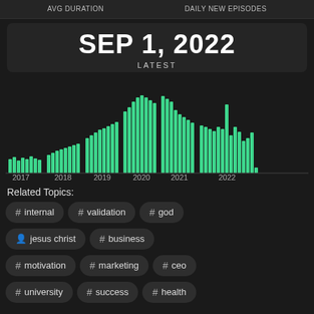AVG DURATION    DAILY NEW EPISODES
SEP 1, 2022
LATEST
[Figure (bar-chart): Episodes by year 2017-2022]
Related Topics:
# internal
# validation
# god
jesus christ
# business
# motivation
# marketing
# ceo
# university
# success
# health